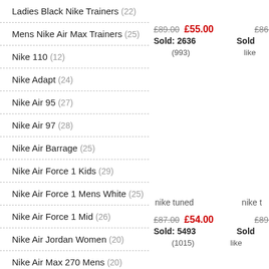Ladies Black Nike Trainers (22)
Mens Nike Air Max Trainers (25)
Nike 110 (12)
Nike Adapt (24)
Nike Air 95 (27)
Nike Air 97 (28)
Nike Air Barrage (25)
Nike Air Force 1 Kids (29)
Nike Air Force 1 Mens White (25)
Nike Air Force 1 Mid (26)
Nike Air Jordan Women (20)
Nike Air Max 270 Mens (20)
Nike Air Max 97 Womens (18)
Nike Air Max Axis (28)
Nike Air Max Dia (23)
Nike Air Max Golf Shoes (22)
£89.00  £55.00  Sold: 2636  (993)  like  £86.
nike tuned  nike t
£87.00  £54.00  Sold: 5493  (1015)  like  £89.